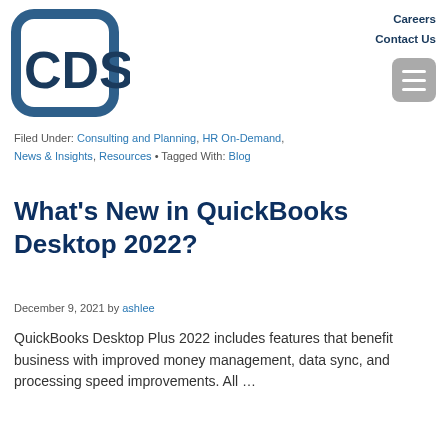[Figure (logo): CDS logo — dark blue square bracket shapes forming a rounded square frame with 'CDS' text inside in large bold dark blue letters]
Careers
Contact Us
Filed Under: Consulting and Planning, HR On-Demand, News & Insights, Resources • Tagged With: Blog
What's New in QuickBooks Desktop 2022?
December 9, 2021 by ashlee
QuickBooks Desktop Plus 2022 includes features that benefit business with improved money management, data sync, and processing speed improvements. All ...